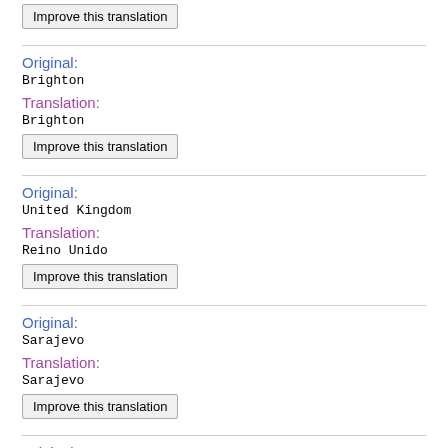Improve this translation
Original:
Brighton
Translation:
Brighton
Improve this translation
Original:
United Kingdom
Translation:
Reino Unido
Improve this translation
Original:
Sarajevo
Translation:
Sarajevo
Improve this translation
Original:
Bosnia And Herzegovina